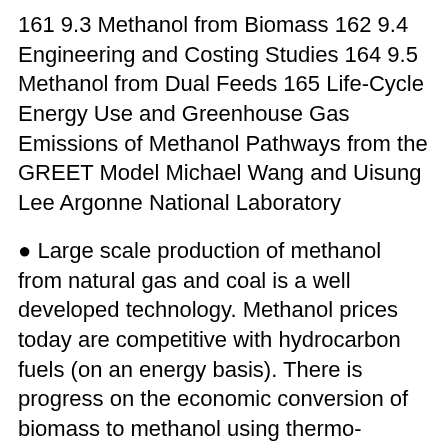161 9.3 Methanol from Biomass 162 9.4 Engineering and Costing Studies 164 9.5 Methanol from Dual Feeds 165 Life-Cycle Energy Use and Greenhouse Gas Emissions of Methanol Pathways from the GREET Model Michael Wang and Uisung Lee Argonne National Laboratory
• Large scale production of methanol from natural gas and coal is a well developed technology. Methanol prices today are competitive with hydrocarbon fuels (on an energy basis). There is progress on the economic conversion of biomass to methanol using thermo-chemical processes. Sufficient feedstock of natural gas and coal exists to enable the use of non-renewable methanol as a